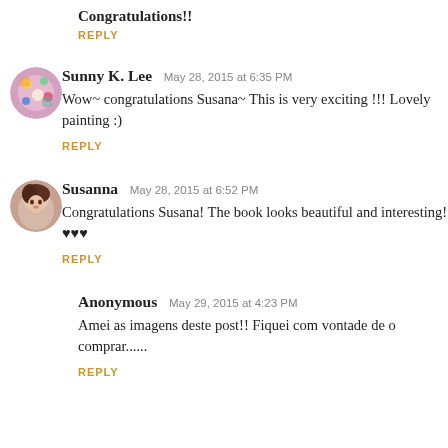Congratulations!!
REPLY
[Figure (photo): Avatar of Sunny K. Lee - colorful illustrated profile image]
Sunny K. Lee  May 28, 2015 at 6:35 PM
Wow~ congratulations Susana~ This is very exciting !!! Lovely painting :)
REPLY
[Figure (photo): Avatar of Susanna - woman with dark hair]
Susanna  May 28, 2015 at 6:52 PM
Congratulations Susana! The book looks beautiful and interesting! ♥♥♥
REPLY
Anonymous  May 29, 2015 at 4:23 PM
Amei as imagens deste post!! Fiquei com vontade de o comprar......
REPLY